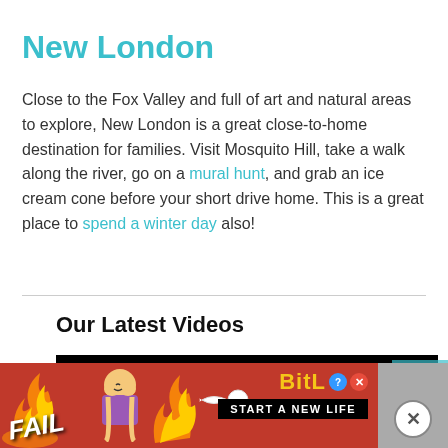New London
Close to the Fox Valley and full of art and natural areas to explore, New London is a great close-to-home destination for families. Visit Mosquito Hill, take a walk along the river, go on a mural hunt, and grab an ice cream cone before your short drive home. This is a great place to spend a winter day also!
Our Latest Videos
[Figure (screenshot): Black video thumbnail area]
[Figure (screenshot): Advertisement banner for BitLife game showing FAIL text, animated character, fire, sperm icon, BitLife logo in yellow, and START A NEW LIFE subtext on red background with close button]